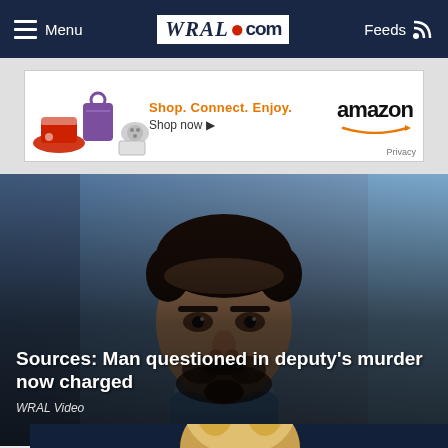Menu  WRAL.com  Feeds
[Figure (other): Amazon advertisement banner: Shop. Connect. Enjoy. Shop now. amazon. Privacy.]
[Figure (photo): Mugshot photo of man with beard and dark curly hair in blue clothing, against blue background]
Sources: Man questioned in deputy's murder now charged
WRAL Video
[Figure (photo): Partial photo of a blonde person on dark navy background, visible from shoulders to top of head at bottom of page]